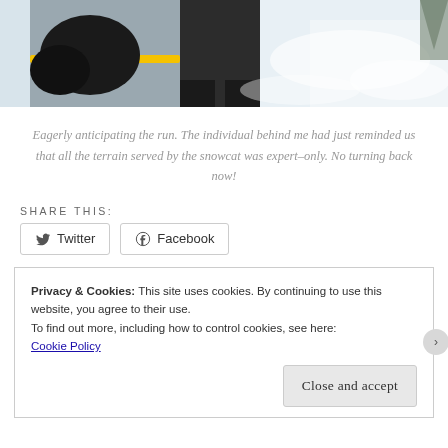[Figure (photo): A snowboarder's lower body and snowboard at the top of a snowy slope, with snow and trees visible in the background.]
Eagerly anticipating the run. The individual behind me had just reminded us that all the terrain served by the snowcat was expert–only. No turning back now!
SHARE THIS:
Twitter  Facebook (share buttons)
Privacy & Cookies: This site uses cookies. By continuing to use this website, you agree to their use.
To find out more, including how to control cookies, see here:
Cookie Policy
Close and accept